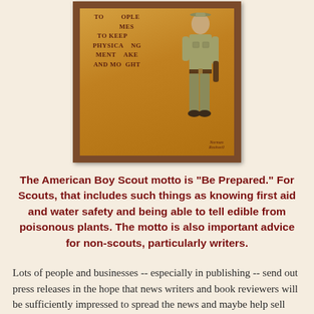[Figure (illustration): A Norman Rockwell-style painting of a Boy Scout in uniform standing in front of a wooden background with partially visible text reading Scout oath/law phrases. The scout wears a khaki uniform with neckerchief. The painting is in a dark wood frame. Artist signature appears in lower right corner.]
The American Boy Scout motto is "Be Prepared." For Scouts, that includes such things as knowing first aid and water safety and being able to tell edible from poisonous plants. The motto is also important advice for non-scouts, particularly writers.
Lots of people and businesses -- especially in publishing -- send out press releases in the hope that news writers and book reviewers will be sufficiently impressed to spread the news and maybe help sell some books.
I am both saddened and amused when someone does